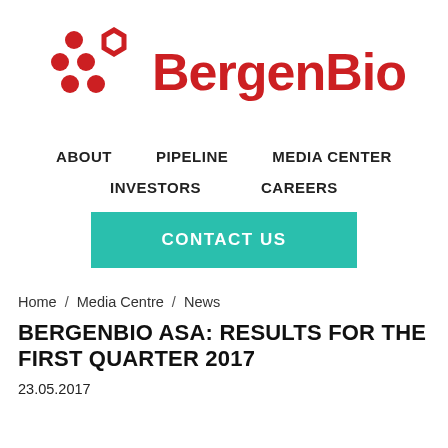[Figure (logo): BergenBio logo: red dot-hexagon pattern icon followed by red bold text 'BergenBio']
ABOUT   PIPELINE   MEDIA CENTER
INVESTORS   CAREERS
CONTACT US
Home / Media Centre / News
BERGENBIO ASA: RESULTS FOR THE FIRST QUARTER 2017
23.05.2017